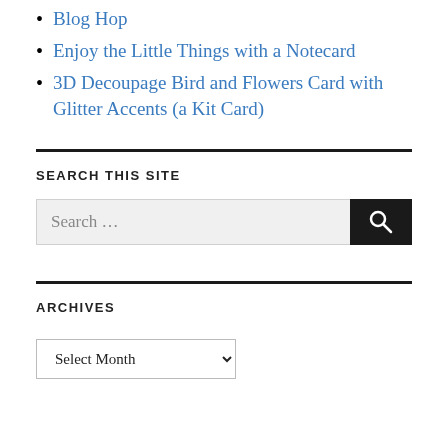Blog Hop
Enjoy the Little Things with a Notecard
3D Decoupage Bird and Flowers Card with Glitter Accents (a Kit Card)
SEARCH THIS SITE
[Figure (screenshot): Search input box with placeholder 'Search ...' and a dark search button with magnifying glass icon]
ARCHIVES
[Figure (screenshot): Dropdown select menu showing 'Select Month']